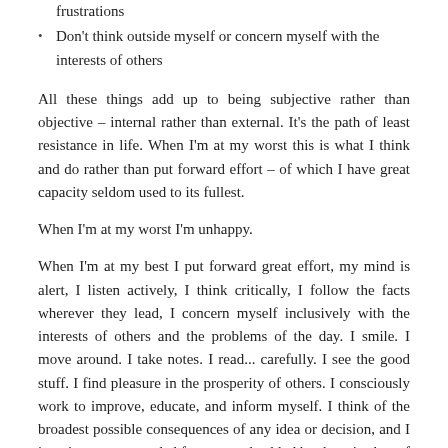frustrations
Don't think outside myself or concern myself with the interests of others
All these things add up to being subjective rather than objective – internal rather than external. It's the path of least resistance in life. When I'm at my worst this is what I think and do rather than put forward effort – of which I have great capacity seldom used to its fullest.
When I'm at my worst I'm unhappy.
When I'm at my best I put forward great effort, my mind is alert, I listen actively, I think critically, I follow the facts wherever they lead, I concern myself inclusively with the interests of others and the problems of the day. I smile. I move around. I take notes. I read... carefully. I see the good stuff. I find pleasure in the prosperity of others. I consciously work to improve, educate, and inform myself. I think of the broadest possible consequences of any idea or decision, and I imagine an open ended future not shackled by the mistakes of the past. I am openly willing to stop and start again.
When I'm at my best I'm happy.